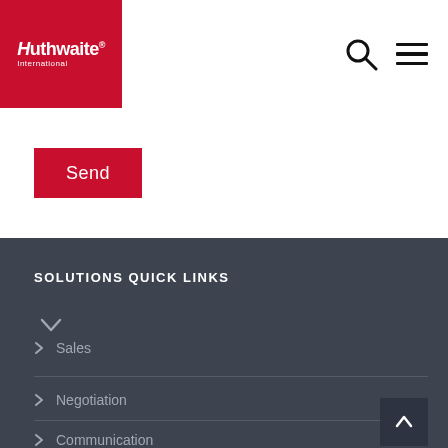[Figure (logo): Huthwaite International logo — white text on red background square]
[Figure (infographic): Search icon (magnifying glass) and hamburger menu icon in page header]
Send
SOLUTIONS QUICK LINKS
> Sales
> Negotiation
> Communication